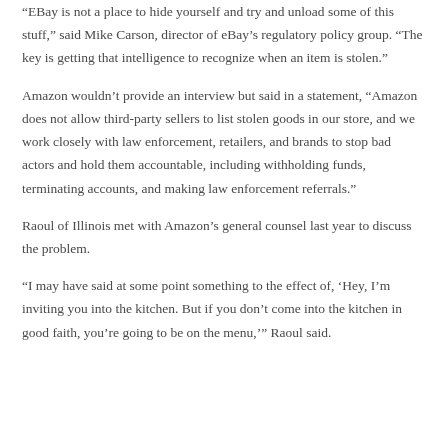“EBay is not a place to hide yourself and try and unload some of this stuff,” said Mike Carson, director of eBay’s regulatory policy group. “The key is getting that intelligence to recognize when an item is stolen.”
Amazon wouldn’t provide an interview but said in a statement, “Amazon does not allow third-party sellers to list stolen goods in our store, and we work closely with law enforcement, retailers, and brands to stop bad actors and hold them accountable, including withholding funds, terminating accounts, and making law enforcement referrals.”
Raoul of Illinois met with Amazon’s general counsel last year to discuss the problem.
“I may have said at some point something to the effect of, ‘Hey, I’m inviting you into the kitchen. But if you don’t come into the kitchen in good faith, you’re going to be on the menu,’” Raoul said.